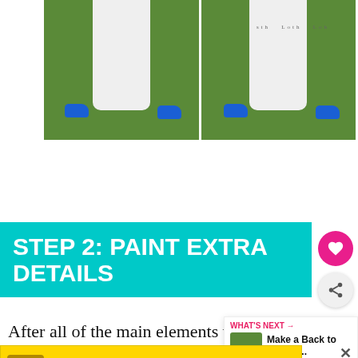[Figure (photo): Two side-by-side photos showing lower half of person in white skirt/dress and blue shoes standing on green grass. Right photo shows text/numbers written on the skirt.]
STEP 2: PAINT EXTRA DETAILS
After all of the main elements were added and fully dried, I drew on some details with colorful paint pens.
[Figure (other): WHAT'S NEXT arrow callout with thumbnail image: Make a Back to School...]
[Figure (other): Advertisement: It's okay to question. Now get the facts on COVID-19 vaccines. GetVaccineAnswers.org]